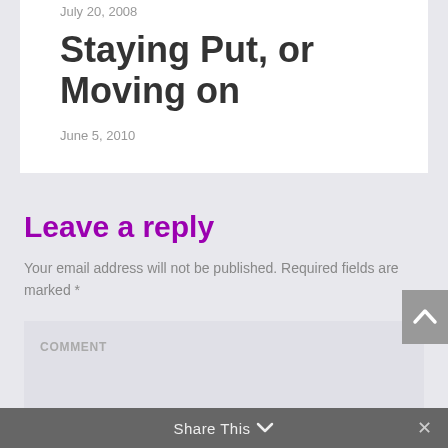July 20, 2008
Staying Put, or Moving on
June 5, 2010
Leave a reply
Your email address will not be published. Required fields are marked *
COMMENT